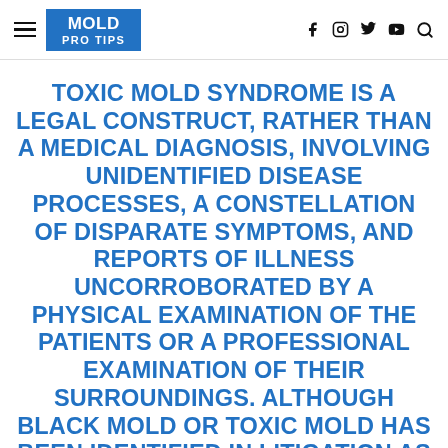MOLD PRO TIPS
TOXIC MOLD SYNDROME IS A LEGAL CONSTRUCT, RATHER THAN A MEDICAL DIAGNOSIS, INVOLVING UNIDENTIFIED DISEASE PROCESSES, A CONSTELLATION OF DISPARATE SYMPTOMS, AND REPORTS OF ILLNESS UNCORROBORATED BY A PHYSICAL EXAMINATION OF THE PATIENTS OR A PROFESSIONAL EXAMINATION OF THEIR SURROUNDINGS. ALTHOUGH BLACK MOLD OR TOXIC MOLD HAS BEEN IDENTIFIED IN LITIGATION AS A CAUSE OF HUMAN ILLNESS, THERE IS NO ESTABLISHED CLUSTER OF SYMPTOMS OR PHYSICAL